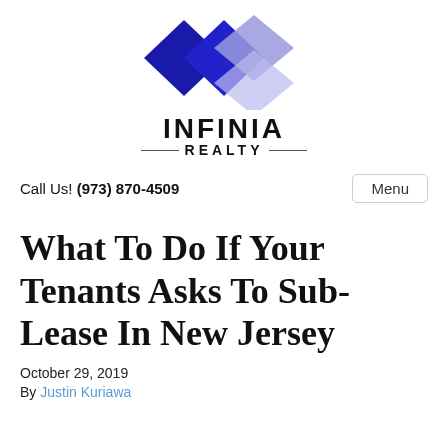[Figure (logo): Infinia Realty logo with diamond shapes in dark blue and light purple/lavender, with text INFINIA REALTY below]
Call Us! (973) 870-4509
Menu
What To Do If Your Tenants Asks To Sub-Lease In New Jersey
October 29, 2019
By Justin Kuriawa